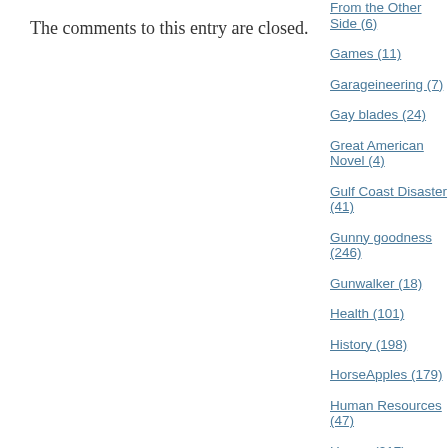The comments to this entry are closed.
From the Other Side (6)
Games (11)
Garageineering (7)
Gay blades (24)
Great American Novel (4)
Gulf Coast Disaster (41)
Gunny goodness (246)
Gunwalker (18)
Health (101)
History (198)
HorseApples (179)
Human Resources (47)
Humor (217)
I might not be (15)
Immigration (56)
In it to Win it (355)
It's the Economy, stupid (230)
Lethal Level of Stupidity